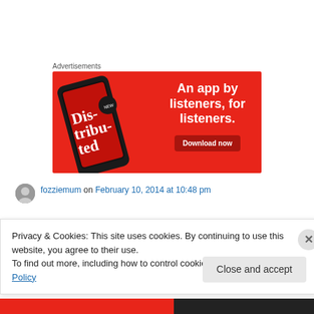Advertisements
[Figure (screenshot): Advertisement banner with red background showing a smartphone displaying a podcast app called 'Distributed'. Text reads 'An app by listeners, for listeners.' with a 'Download now' button.]
fozziemum on February 10, 2014 at 10:48 pm
Privacy & Cookies: This site uses cookies. By continuing to use this website, you agree to their use.
To find out more, including how to control cookies, see here: Cookie Policy